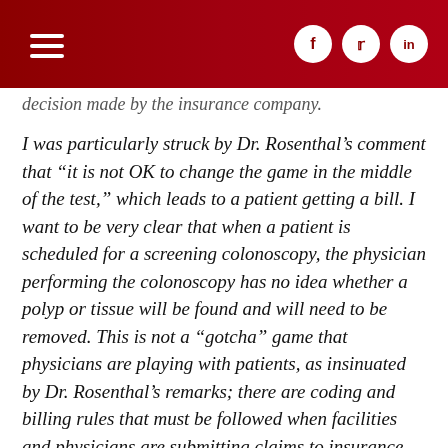decision made by the insurance company.
I was particularly struck by Dr. Rosenthal’s comment that “it is not OK to change the game in the middle of the test,” which leads to a patient getting a bill. I want to be very clear that when a patient is scheduled for a screening colonoscopy, the physician performing the colonoscopy has no idea whether a polyp or tissue will be found and will need to be removed. This is not a “gotcha” game that physicians are playing with patients, as insinuated by Dr. Rosenthal’s remarks; there are coding and billing rules that must be followed when facilities and physicians are submitting claims to insurance companies. ASGE continually works to ensure that